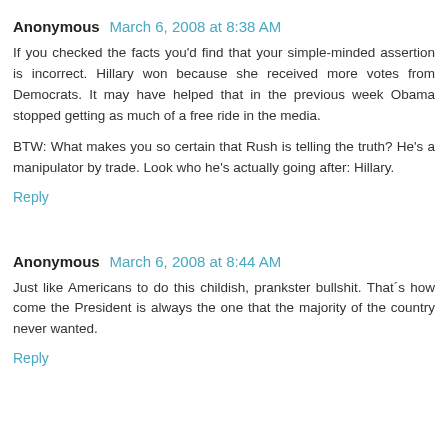Anonymous  March 6, 2008 at 8:38 AM
If you checked the facts you'd find that your simple-minded assertion is incorrect. Hillary won because she received more votes from Democrats. It may have helped that in the previous week Obama stopped getting as much of a free ride in the media.

BTW: What makes you so certain that Rush is telling the truth? He's a manipulator by trade. Look who he's actually going after: Hillary.
Reply
Anonymous  March 6, 2008 at 8:44 AM
Just like Americans to do this childish, prankster bullshit. That´s how come the President is always the one that the majority of the country never wanted.
Reply